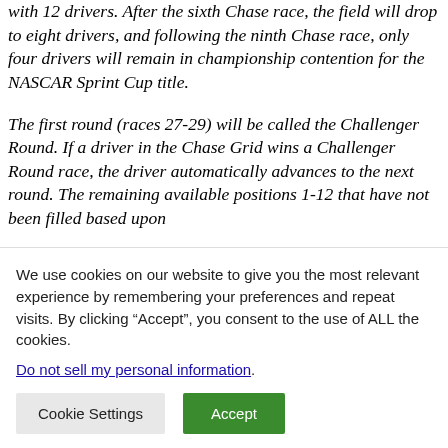with 12 drivers. After the sixth Chase race, the field will drop to eight drivers, and following the ninth Chase race, only four drivers will remain in championship contention for the NASCAR Sprint Cup title. The first round (races 27-29) will be called the Challenger Round. If a driver in the Chase Grid wins a Challenger Round race, the driver automatically advances to the next round. The remaining available positions 1-12 that have not been filled based upon
We use cookies on our website to give you the most relevant experience by remembering your preferences and repeat visits. By clicking “Accept”, you consent to the use of ALL the cookies. Do not sell my personal information.